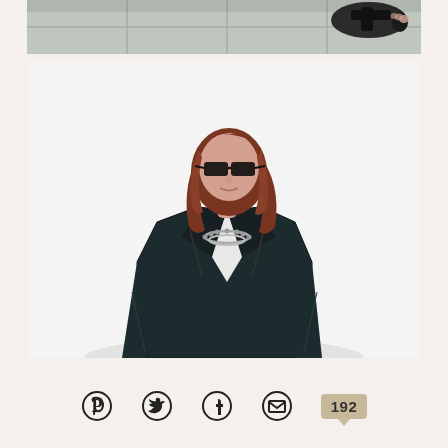[Figure (photo): Close-up photo of black sandals/slides on a tiled floor, viewed from above]
[Figure (photo): Fashion photo of a woman with auburn hair, wearing sunglasses, a dark navy/black leather moto jacket over a white top, with a statement necklace, against a white background]
192